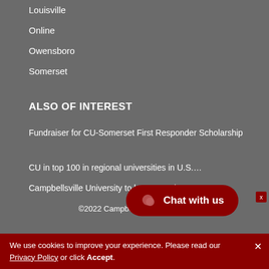Louisville
Online
Owensboro
Somerset
ALSO OF INTEREST
Fundraiser for CU-Somerset First Responder Scholarship
CU in top 100 in regional universities in U.S.…
Campbellsville University to host Dr. John…
©2022 Campbellsville University
We use cookies to improve your experience. Please read our Privacy Policy or click Accept.